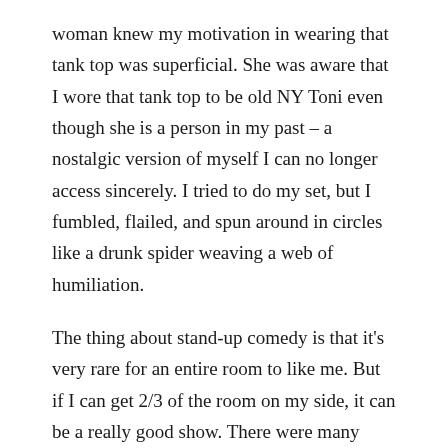woman knew my motivation in wearing that tank top was superficial. She was aware that I wore that tank top to be old NY Toni even though she is a person in my past – a nostalgic version of myself I can no longer access sincerely. I tried to do my set, but I fumbled, flailed, and spun around in circles like a drunk spider weaving a web of humiliation.
The thing about stand-up comedy is that it's very rare for an entire room to like me. But if I can get 2/3 of the room on my side, it can be a really good show. There were many other people besides this disapproving older woman that could have enjoyed me, but she was the trigger I pulled in my own mental suicide on stage. I was ashamed of my tank top, of my body, and of my intentions. It was threw her eyes that I saw myself, even